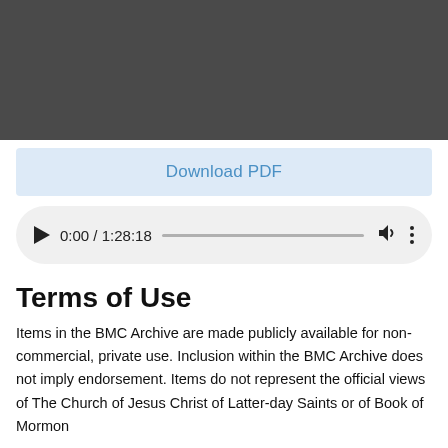[Figure (screenshot): Dark gray video player placeholder area]
Download PDF
[Figure (screenshot): Audio player UI showing play button, time 0:00 / 1:28:18, progress bar, volume icon, and options dots]
Terms of Use
Items in the BMC Archive are made publicly available for non-commercial, private use. Inclusion within the BMC Archive does not imply endorsement. Items do not represent the official views of The Church of Jesus Christ of Latter-day Saints or of Book of Mormon